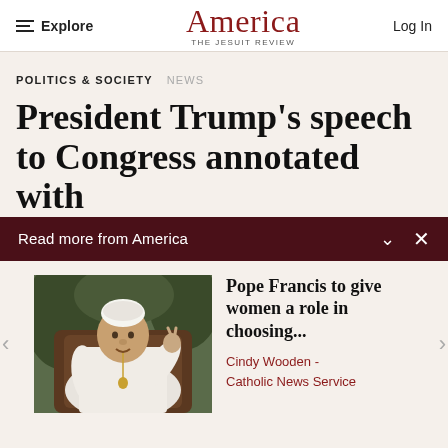Explore | America THE JESUIT REVIEW | Log In
POLITICS & SOCIETY   NEWS
President Trump's speech to Congress annotated with
Read more from America
[Figure (photo): Pope Francis seated, wearing white papal robes and skullcap, gesturing with right hand raised, dark background with plants]
Pope Francis to give women a role in choosing...
Cindy Wooden -
Catholic News Service